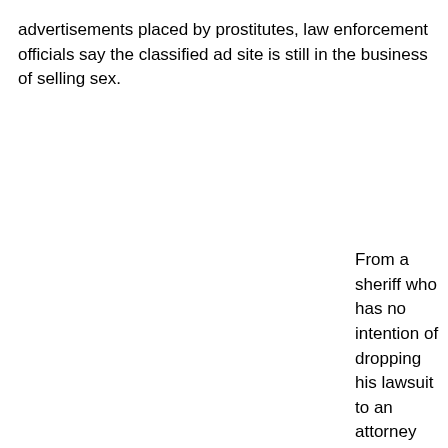advertisements placed by prostitutes, law enforcement officials say the classified ad site is still in the business of selling sex.
From a sheriff who has no intention of dropping his lawsuit to an attorney general who suggests that he and colleagues could further pressure the company to